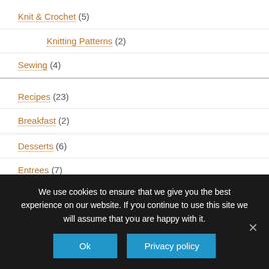Knit & Crochet (5)
Knitting Patterns (2)
Sewing (4)
Recipes (23)
Breakfast (2)
Desserts (6)
Entrees (7)
Food Preservation (3)
Herbs and Spices (3)
Side Dishes (2)
We use cookies to ensure that we give you the best experience on our website. If you continue to use this site we will assume that you are happy with it.